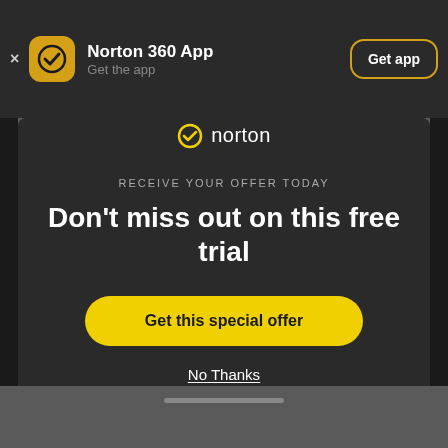[Figure (screenshot): Norton 360 App banner at top with close button, Norton icon, app name, and Get app button]
[Figure (screenshot): Norton modal popup on dark background with logo, offer text, headline, CTA button, and No Thanks link]
Don't miss out on this free trial
RECEIVE YOUR OFFER TODAY
Get this special offer
No Thanks